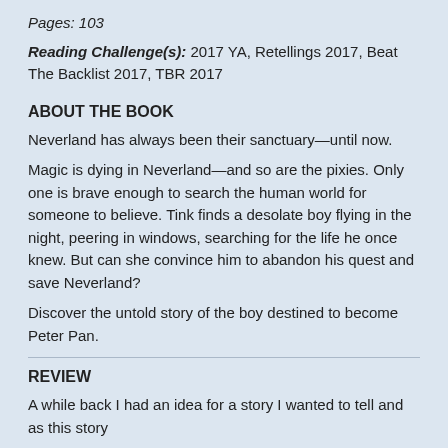Pages: 103
Reading Challenge(s): 2017 YA, Retellings 2017, Beat The Backlist 2017, TBR 2017
ABOUT THE BOOK
Neverland has always been their sanctuary—until now.
Magic is dying in Neverland—and so are the pixies. Only one is brave enough to search the human world for someone to believe. Tink finds a desolate boy flying in the night, peering in windows, searching for the life he once knew. But can she convince him to abandon his quest and save Neverland?
Discover the untold story of the boy destined to become Peter Pan.
REVIEW
A while back I had an idea for a story I wanted to tell and as this story